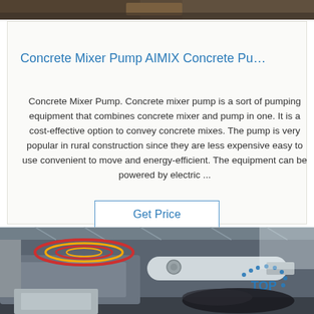[Figure (photo): Top portion of a construction/industrial image, partially cropped]
Concrete Mixer Pump AIMIX Concrete Pu…
Concrete Mixer Pump. Concrete mixer pump is a sort of pumping equipment that combines concrete mixer and pump in one. It is a cost-effective option to convey concrete mixes. The pump is very popular in rural construction since they are less expensive easy to use convenient to move and energy-efficient. The equipment can be powered by electric ...
Get Price
[Figure (photo): Industrial concrete mixer pump machine inside a warehouse/factory, with AIMIX branding and a TOP watermark logo visible in the lower right]